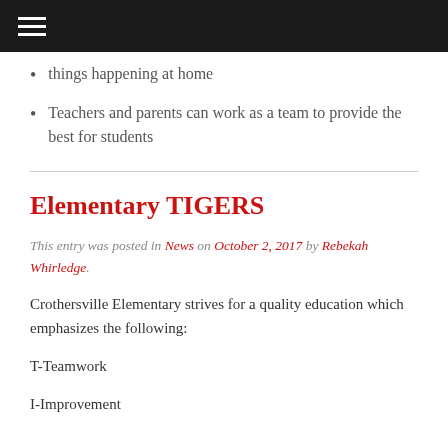≡
things happening at home
Teachers and parents can work as a team to provide the best for students
Elementary TIGERS
This entry was posted in News on October 2, 2017 by Rebekah Whirledge.
Crothersville Elementary strives for a quality education which emphasizes the following:
T-Teamwork
I-Improvement